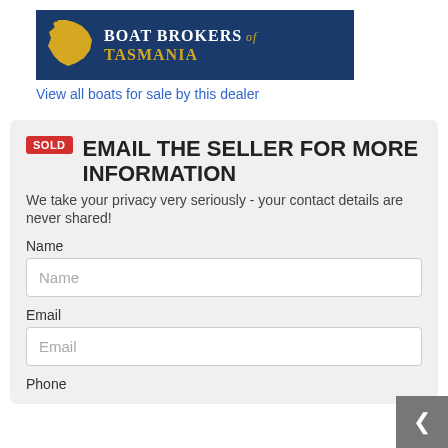[Figure (logo): Boat Brokers of Tasmania logo: dark blue banner with yellow Tasmania map silhouette and white/yellow text reading 'Boat Brokers of Tasmania']
View all boats for sale by this dealer
EMAIL THE SELLER FOR MORE INFORMATION
We take your privacy very seriously - your contact details are never shared!
Name
Email
Phone